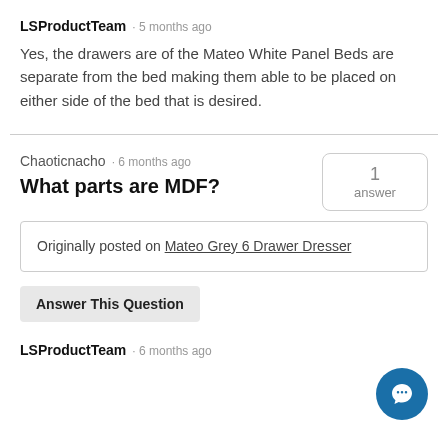LSProductTeam · 5 months ago
Yes, the drawers are of the Mateo White Panel Beds are separate from the bed making them able to be placed on either side of the bed that is desired.
Chaoticnacho · 6 months ago
What parts are MDF?
1 answer
Originally posted on Mateo Grey 6 Drawer Dresser
Answer This Question
LSProductTeam · 6 months ago